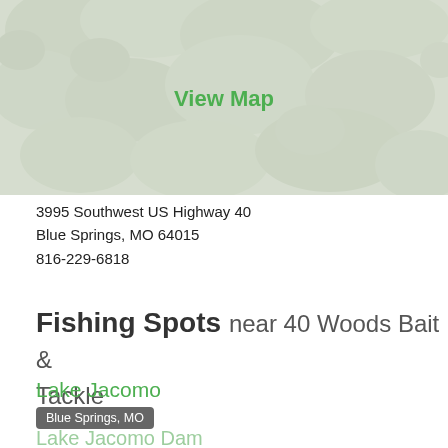[Figure (map): Satellite/aerial map view with green tree canopy, muted colors with semi-transparent overlay, showing 'View Map' link in green text in the center]
3995 Southwest US Highway 40
Blue Springs, MO 64015
816-229-6818
Fishing Spots near 40 Woods Bait & Tackle
Lake Jacomo
Blue Springs, MO
Lake Jacomo Dam
Blue Springs, MO